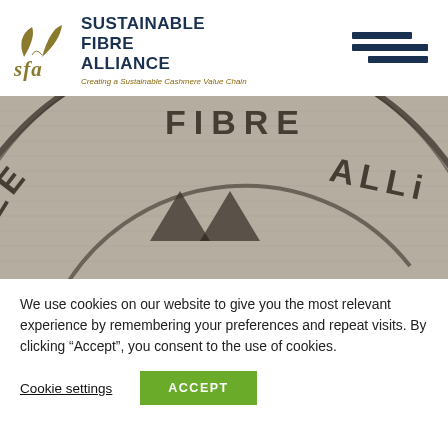[Figure (logo): Sustainable Fibre Alliance logo with golden leaf icon, 'sfa' text, organization name in dark blue, and italic tagline 'Creating a Sustainable Cashmere Value Chain']
[Figure (illustration): Close-up photo of fabric/burlap texture with embossed circular stamp text reading 'SUSTAINABLE FIBRE ALLi...' and a leaf/arrow logo watermark]
We use cookies on our website to give you the most relevant experience by remembering your preferences and repeat visits. By clicking “Accept”, you consent to the use of cookies.
Cookie settings
ACCEPT